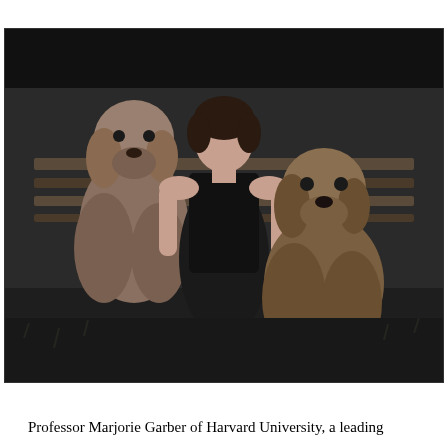[Figure (photo): Black and white photograph of a woman seated outdoors on a bench, flanked by two golden retrievers. The woman is wearing a dark sleeveless top and dark skirt. The setting appears to be a garden or park.]
Professor Marjorie Garber of Harvard University, a leading